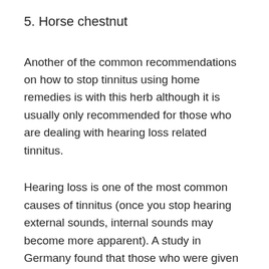5. Horse chestnut
Another of the common recommendations on how to stop tinnitus using home remedies is with this herb although it is usually only recommended for those who are dealing with hearing loss related tinnitus.
Hearing loss is one of the most common causes of tinnitus (once you stop hearing external sounds, internal sounds may become more apparent). A study in Germany found that those who were given this herb reported a significant improvement in hearing. Sometimes improving your hearing is all that you need to get rid of tinnitus.